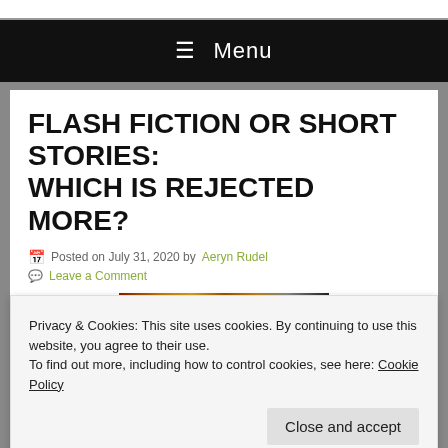Menu
FLASH FICTION OR SHORT STORIES: WHICH IS REJECTED MORE?
Posted on July 31, 2020 by Aeryn Rudel
Leave a Comment
[Figure (photo): Dark fantasy-themed header image with candles and figures]
Privacy & Cookies: This site uses cookies. By continuing to use this website, you agree to their use.
To find out more, including how to control cookies, see here: Cookie Policy
Close and accept
[Figure (photo): Bottom banner with warning icons and ARTS text on black background]